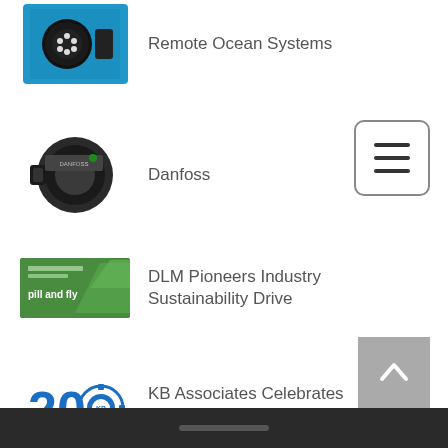[Figure (photo): Underwater LED light on blue background]
Remote Ocean Systems
[Figure (illustration): Hamburger menu button icon]
[Figure (photo): Danfoss motor/actuator device in dark grey]
Danfoss
[Figure (photo): Green DLM Pioneers Industry Sustainability Drive banner]
DLM Pioneers Industry Sustainability Drive
[Figure (illustration): Back to top arrow button in grey]
[Figure (logo): KB Associates 20th Anniversary logo with blue 20 and gear icon]
KB Associates Celebrates 20th Anniversary